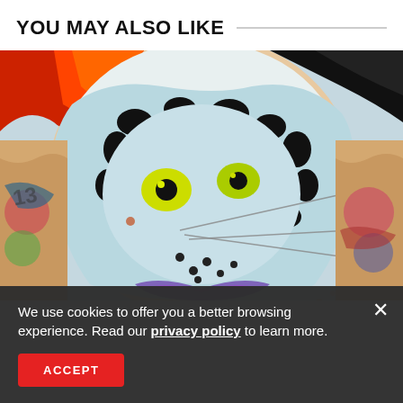YOU MAY ALSO LIKE
[Figure (photo): Person with extensive Japanese-style full-body tattoos featuring a large creature with green eyes, blue and black spotted patterns, and colorful sleeve tattoos on both arms.]
We use cookies to offer you a better browsing experience. Read our privacy policy to learn more.
ACCEPT